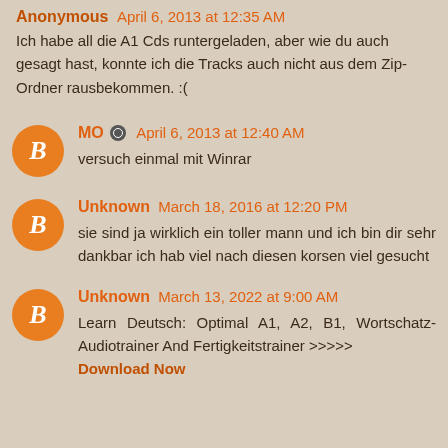Anonymous April 6, 2013 at 12:35 AM
Ich habe all die A1 Cds runtergeladen, aber wie du auch gesagt hast, konnte ich die Tracks auch nicht aus dem Zip-Ordner rausbekommen. :(
MO [edit icon] April 6, 2013 at 12:40 AM
versuch einmal mit Winrar
Unknown March 18, 2016 at 12:20 PM
sie sind ja wirklich ein toller mann und ich bin dir sehr dankbar ich hab viel nach diesen korsen viel gesucht
Unknown March 13, 2022 at 9:00 AM
Learn Deutsch: Optimal A1, A2, B1, Wortschatz-Audiotrainer And Fertigkeitstrainer >>>>> Download Now